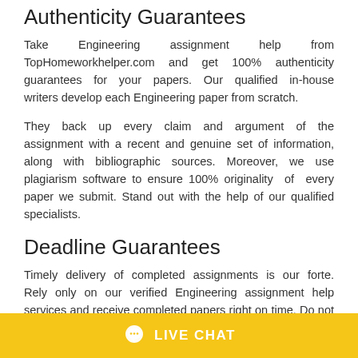Authenticity Guarantees
Take Engineering assignment help from TopHomeworkhelper.com and get 100% authenticity guarantees for your papers. Our qualified in-house writers develop each Engineering paper from scratch.
They back up every claim and argument of the assignment with a recent and genuine set of information, along with bibliographic sources. Moreover, we use plagiarism software to ensure 100% originality of every paper we submit. Stand out with the help of our qualified specialists.
Deadline Guarantees
Timely delivery of completed assignments is our forte. Rely only on our verified Engineering assignment help services and receive completed papers right on time. Do not worry about tight deadline assignments anymore.
LIVE CHAT